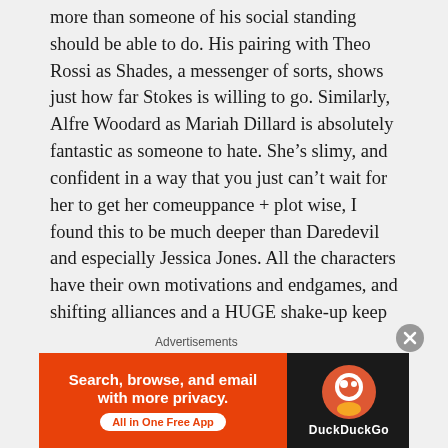more than someone of his social standing should be able to do. His pairing with Theo Rossi as Shades, a messenger of sorts, shows just how far Stokes is willing to go. Similarly, Alfre Woodard as Mariah Dillard is absolutely fantastic as someone to hate. She’s slimy, and confident in a way that you just can’t wait for her to get her comeuppance + plot wise, I found this to be much deeper than Daredevil and especially Jessica Jones. All the characters have their own motivations and endgames, and shifting alliances and a HUGE shake-up keep things interesting. With so many characters, it is no wonder that the game of chess is a running motif throughout the series + the hip-hop soundtrack is absolutely phenomenal.
Advertisements
[Figure (screenshot): DuckDuckGo advertisement banner: orange left section with text 'Search, browse, and email with more privacy. All in One Free App' and dark right section with DuckDuckGo logo and name.]